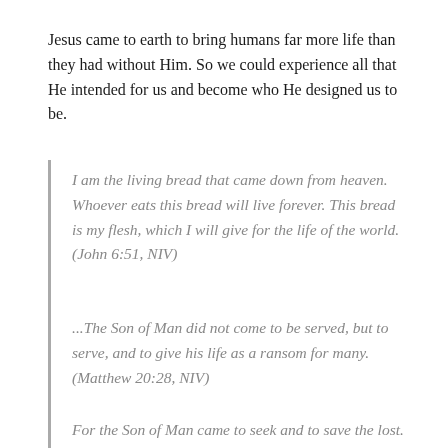Jesus came to earth to bring humans far more life than they had without Him. So we could experience all that He intended for us and become who He designed us to be.
I am the living bread that came down from heaven. Whoever eats this bread will live forever. This bread is my flesh, which I will give for the life of the world. (John 6:51, NIV)
...The Son of Man did not come to be served, but to serve, and to give his life as a ransom for many. (Matthew 20:28, NIV)
For the Son of Man came to seek and to save the lost. (Luke 19:10, NIV)